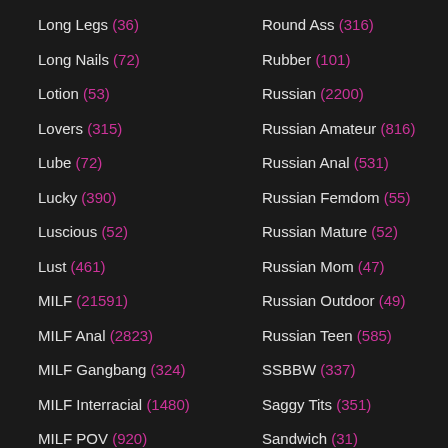Long Legs (36)
Long Nails (72)
Lotion (53)
Lovers (315)
Lube (72)
Lucky (390)
Luscious (52)
Lust (461)
MILF (21591)
MILF Anal (2823)
MILF Gangbang (324)
MILF Interracial (1480)
MILF POV (920)
MMF (417)
Maid (499)
Malaysian (141)
Round Ass (316)
Rubber (101)
Russian (2200)
Russian Amateur (816)
Russian Anal (531)
Russian Femdom (55)
Russian Mature (52)
Russian Mom (47)
Russian Outdoor (49)
Russian Teen (585)
SSBBW (337)
Saggy Tits (351)
Sandwich (31)
Satin (81)
Sauna (52)
Scandal (119)